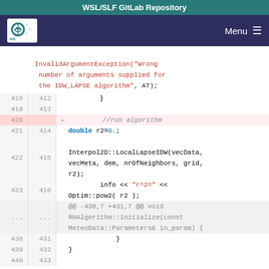WSL/SLF GitLab Repository
[Figure (screenshot): WSL/SLF logo with Menu navigation bar on dark navy background]
InvalidArgumentException("Wrong number of arguments supplied for the IDW_LAPSE algorithm", AT);
418  412      }
419  413
420       -    //run algorithm
421  414      double r2=0.;
422  415
              Interpol2D::LocalLapseIDW(vecData, vecMeta, dem, nrOfNeighbors, grid, r2);
423  416          info << "r^2=" << Optim::pow2( r2 );
...  ...  @@ -438,7 +431,7 @@ void RHAlgorithm::initialize(const MeteoData::Parameters& in_param) {
438  431          }
439  432  }
440  433